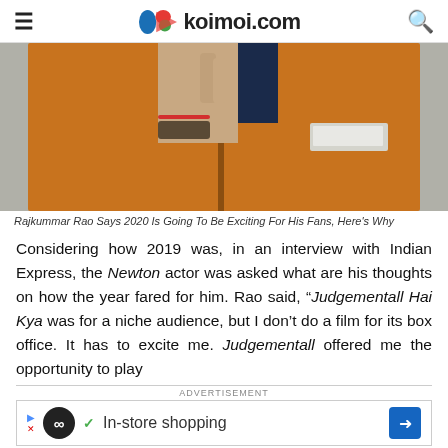koimoi.com
[Figure (photo): Photo of Rajkummar Rao in an orange jacket with hand near chin in a thoughtful pose]
Rajkummar Rao Says 2020 Is Going To Be Exciting For His Fans, Here's Why
Considering how 2019 was, in an interview with Indian Express, the Newton actor was asked what are his thoughts on how the year fared for him. Rao said, “Judgementall Hai Kya was for a niche audience, but I don’t do a film for its box office. It has to excite me. Judgementall offered me the opportunity to play
[Figure (other): Advertisement banner: In-store shopping]